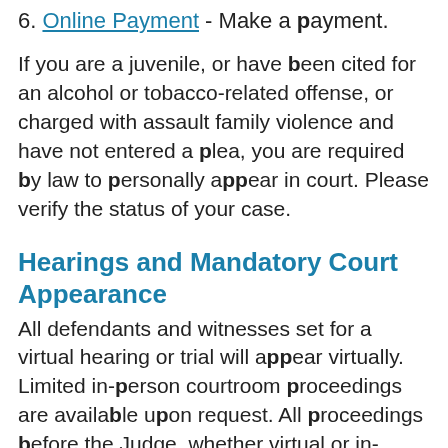6. Online Payment - Make a payment.
If you are a juvenile, or have been cited for an alcohol or tobacco-related offense, or charged with assault family violence and have not entered a plea, you are required by law to personally appear in court. Please verify the status of your case.
Hearings and Mandatory Court Appearance
All defendants and witnesses set for a virtual hearing or trial will appear virtually. Limited in-person courtroom proceedings are available upon request. All proceedings before the Judge, whether virtual or in-person, are open for observation by the general public in the